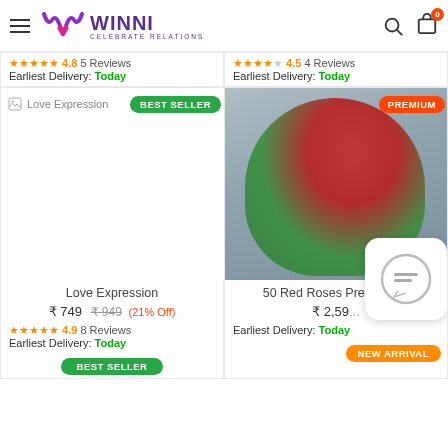WINNI - CELEBRATE RELATIONS
4.8 ★★★★★ 5 Reviews
Earliest Delivery: Today
4.5 ★★★★☆ 4 Reviews
Earliest Delivery: Today
[Figure (photo): Love Expression flower product placeholder image with BEST SELLER badge]
[Figure (photo): 50 Red Roses Premium Arrangement tall floral arrangement with PREMIUM badge]
Love Expression
₹ 749  ₹ 949  (21% Off)
4.9 ★★★★★ 8 Reviews
Earliest Delivery: Today
50 Red Roses Premi... ent
₹ 2,59...
Earliest Delivery: Today
BEST SELLER
NEW ARRIVAL